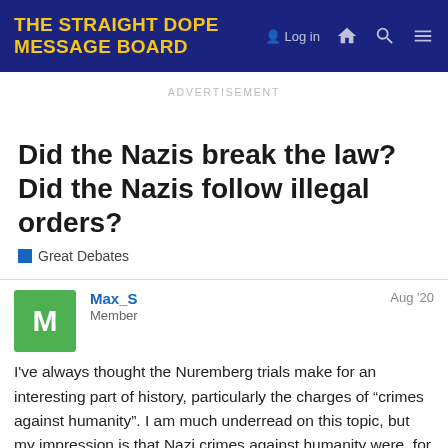THE STRAIGHT DOPE MESSAGE BOARD
ADVERTISEMENT
Did the Nazis break the law? Did the Nazis follow illegal orders?
Great Debates
Max_S  Member  Aug '20
I've always thought the Nuremberg trials make for an interesting part of history, particularly the charges of “crimes against humanity”. I am much underread on this topic, but my impression is that Nazi crimes against humanity were, for the most part, legal at the time and in the jurisdiction they were committed.
1 / 70